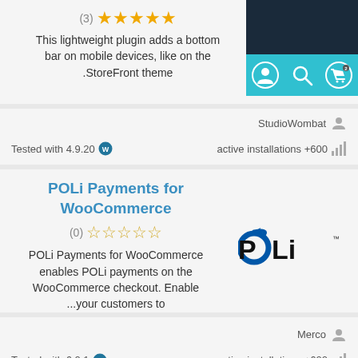[Figure (screenshot): Plugin screenshot showing mobile bottom bar with user, search, and cart icons on teal background]
This lightweight plugin adds a bottom bar on mobile devices, like on the .StoreFront theme
StudioWombat
Tested with 4.9.20   active installations +600
POLi Payments for WooCommerce
[Figure (logo): POLi logo - black text with blue circle accent]
(0) ☆☆☆☆☆
POLi Payments for WooCommerce enables POLi payments on the WooCommerce checkout. Enable ...your customers to
Merco
Tested with 6.0.1   active installations +600